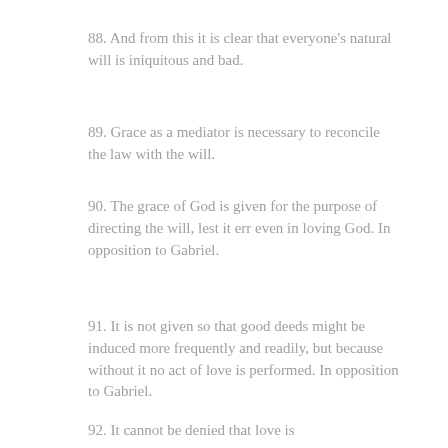88. And from this it is clear that everyone's natural will is iniquitous and bad.
89. Grace as a mediator is necessary to reconcile the law with the will.
90. The grace of God is given for the purpose of directing the will, lest it err even in loving God. In opposition to Gabriel.
91. It is not given so that good deeds might be induced more frequently and readily, but because without it no act of love is performed. In opposition to Gabriel.
92. It cannot be denied that love is